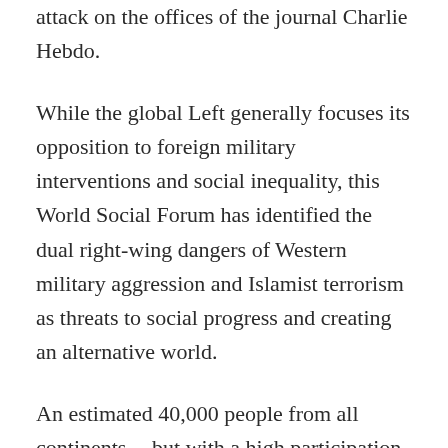attack on the offices of the journal Charlie Hebdo.
While the global Left generally focuses its opposition to foreign military interventions and social inequality, this World Social Forum has identified the dual right-wing dangers of Western military aggression and Islamist terrorism as threats to social progress and creating an alternative world.
An estimated 40,000 people from all continents -- but with a high participation from Africa, Europe, and the Middle East -- gathered at the El-Manar